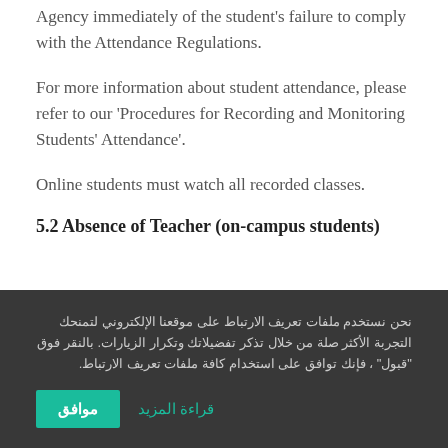Agency immediately of the student’s failure to comply with the Attendance Regulations.
For more information about student attendance, please refer to our ‘Procedures for Recording and Monitoring Students’ Attendance’.
Online students must watch all recorded classes.
5.2 Absence of Teacher (on-campus students)
نحن نستخدم ملفات تعريف الارتباط على موقعنا الإلكتروني لتمنحك التجربة الأكثر صلة من خلال تذكر تفضيلاتك وتكرار الزيارات. بالنقر فوق “قبول” ، فإنك توافق على استخدام كافة ملفات تعريف الارتباط.
موافق
قراءة المزيد